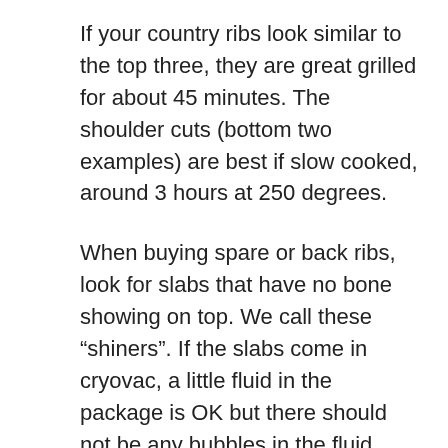If your country ribs look similar to the top three, they are great grilled for about 45 minutes. The shoulder cuts (bottom two examples) are best if slow cooked, around 3 hours at 250 degrees.
When buying spare or back ribs, look for slabs that have no bone showing on top. We call these “shiners”. If the slabs come in cryovac, a little fluid in the package is OK but there should not be any bubbles in the fluid. This means that the bacteria is multiplying at a pretty good rate and the meat is well on the way to being spoiled. If I buy any meat that was wrapped in a supermarket in those little trays with thin plastic, I always pop a hole in the plastic and smell it. If it smells OK, (there should be almost no odor in fresh pork) I buy it. If it stinks I give it to the butcher and tell him it’s going bad. If he’s honest, he appreciates it. If he’s not honest, he waits until I’m gone, calls me an ass@#$% and re-wraps it to sell to someone else. sometimes they do look the other way.